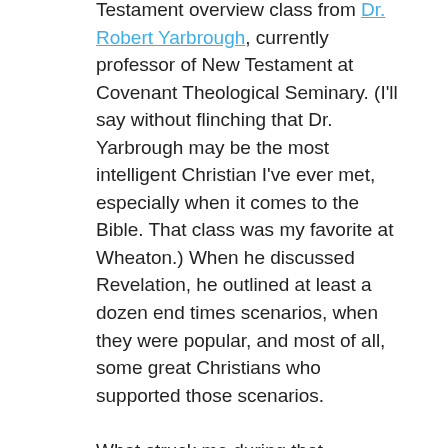Testament overview class from Dr. Robert Yarbrough, currently professor of New Testament at Covenant Theological Seminary. (I'll say without flinching that Dr. Yarbrough may be the most intelligent Christian I've ever met, especially when it comes to the Bible. That class was my favorite at Wheaton.) When he discussed Revelation, he outlined at least a dozen end times scenarios, when they were popular, and most of all, some great Christians who supported those scenarios.
What struck me during that teaching was not the scenarios themselves, but the revelation (excuse the pun) that some exceedingly wise and far more biblically diligent folks than I arrived at the wrong eschatology. And for those who avoided predictions as to when the end would come, they bore far more contradictions than will